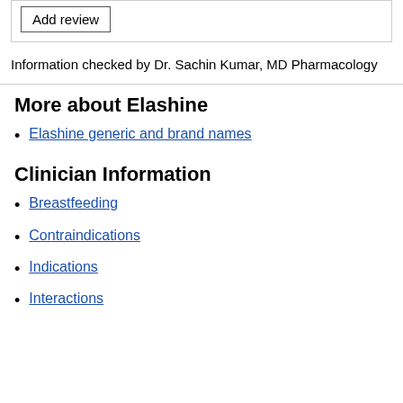Add review
Information checked by Dr. Sachin Kumar, MD Pharmacology
More about Elashine
Elashine generic and brand names
Clinician Information
Breastfeeding
Contraindications
Indications
Interactions